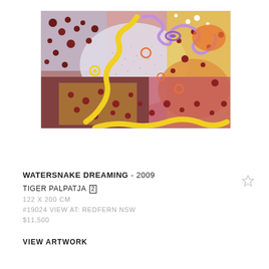[Figure (photo): Aboriginal dot painting titled 'Watersnake Dreaming' (2009) by Tiger Palpatja. Colorful artwork featuring yellow sinuous watersnake lines, dark red dots on patterned backgrounds, purple wavy forms, and a white/yellow/red/orange stippled center. Colors include red, yellow, purple, orange, white, and dark maroon.]
WATERSNAKE DREAMING - 2009
TIGER PALPATJA 2
122 X 200 CM
#19024 VIEW AT: REDFERN NSW
$11,500
VIEW ARTWORK